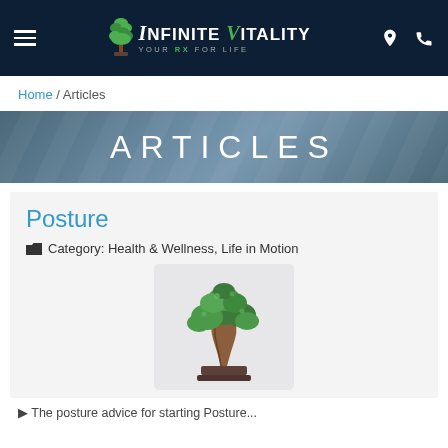Infinite Vitality — Your Rx For Life
Home / Articles
ARTICLES
Posture
Category: Health & Wellness, Life in Motion
[Figure (photo): A bonsai tree in a rectangular pot, photographed against a white background inside a light grey rounded rectangle card.]